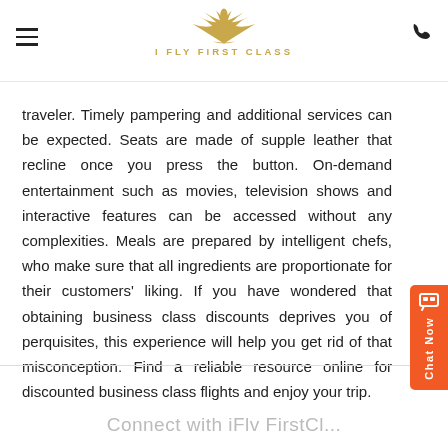I FLY FIRST CLASS
traveler. Timely pampering and additional services can be expected. Seats are made of supple leather that recline once you press the button. On-demand entertainment such as movies, television shows and interactive features can be accessed without any complexities. Meals are prepared by intelligent chefs, who make sure that all ingredients are proportionate for their customers' liking. If you have wondered that obtaining business class discounts deprives you of perquisites, this experience will help you get rid of that misconception. Find a reliable resource online for discounted business class flights and enjoy your trip.